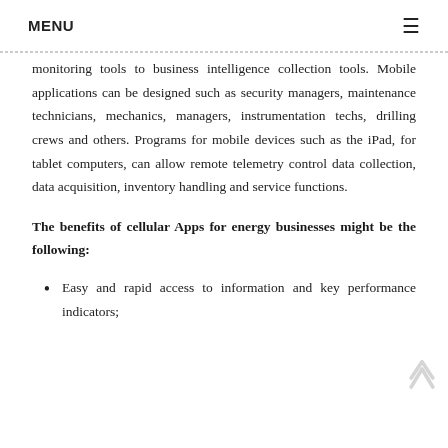MENU ≡
monitoring tools to business intelligence collection tools. Mobile applications can be designed such as security managers, maintenance technicians, mechanics, managers, instrumentation techs, drilling crews and others. Programs for mobile devices such as the iPad, for tablet computers, can allow remote telemetry control data collection, data acquisition, inventory handling and service functions.
The benefits of cellular Apps for energy businesses might be the following:
Easy and rapid access to information and key performance indicators;